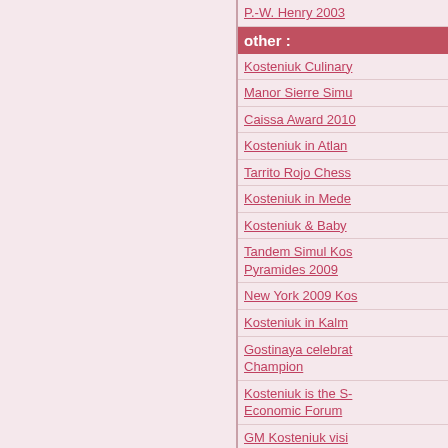P.-W. Henry 2003
other :
Kosteniuk Culinary
Manor Sierre Simu
Caissa Award 2010
Kosteniuk in Atlan
Tarrito Rojo Chess
Kosteniuk in Mede
Kosteniuk & Baby
Tandem Simul Kos Pyramides 2009
New York 2009 Kos
Kosteniuk in Kalm
Gostinaya celebrat Champion
Kosteniuk is the S- Economic Forum
GM Kosteniuk visi
1-й кубок Алексан
Alexandra Kosteni (Austria)
Two Chess Champ
Alexandra Kosteni 2007